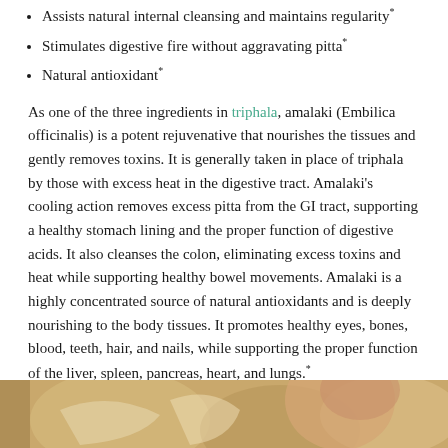Assists natural internal cleansing and maintains regularity*
Stimulates digestive fire without aggravating pitta*
Natural antioxidant*
As one of the three ingredients in triphala, amalaki (Embilica officinalis) is a potent rejuvenative that nourishes the tissues and gently removes toxins. It is generally taken in place of triphala by those with excess heat in the digestive tract. Amalaki's cooling action removes excess pitta from the GI tract, supporting a healthy stomach lining and the proper function of digestive acids. It also cleanses the colon, eliminating excess toxins and heat while supporting healthy bowel movements. Amalaki is a highly concentrated source of natural antioxidants and is deeply nourishing to the body tissues. It promotes healthy eyes, bones, blood, teeth, hair, and nails, while supporting the proper function of the liver, spleen, pancreas, heart, and lungs.*
"How To" Videos
[Figure (photo): Partial photo at bottom of page showing a person, warm tones, cropped]